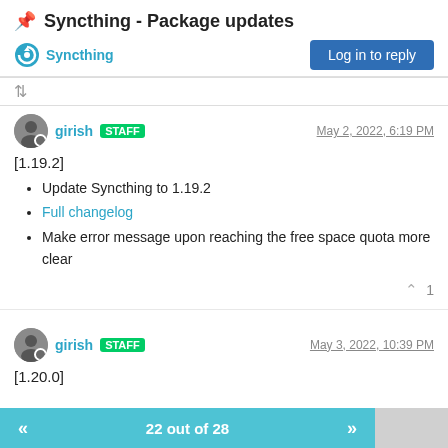📌 Syncthing - Package updates
Syncthing
Log in to reply
girish STAFF — May 2, 2022, 6:19 PM
[1.19.2]
Update Syncthing to 1.19.2
Full changelog
Make error message upon reaching the free space quota more clear
^ 1
girish STAFF — May 3, 2022, 10:39 PM
[1.20.0]
22 out of 28